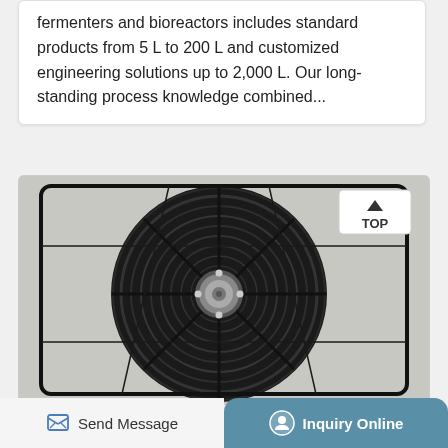Production: The Sartorius portfolio of stainless steel fermenters and bioreactors includes standard products from 5 L to 200 L and customized engineering solutions up to 2,000 L. Our long-standing process knowledge combined...
[Figure (photo): Top-view photograph of an industrial axial fan (black blades, wire guard, central motor housing) mounted on a light grey panel, with a 'TOP' label in the upper-right corner.]
Send Message | Inquiry Online